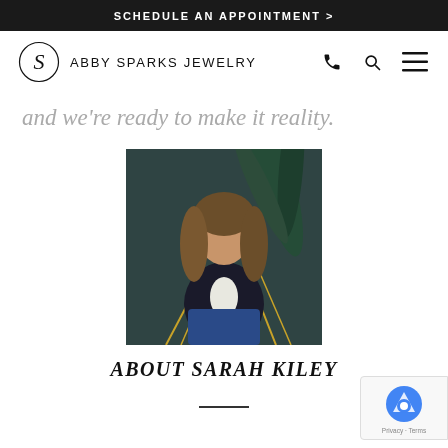SCHEDULE AN APPOINTMENT >
[Figure (logo): Abby Sparks Jewelry logo with stylized S in circle and brand name]
and we're ready to make it reality.
[Figure (photo): Photo of Sarah Kiley, a woman with long wavy hair, seated in a gold chair with green plants in background]
ABOUT SARAH KILEY